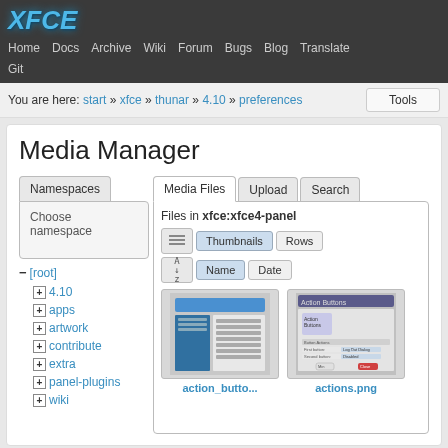XFCE — Home Docs Archive Wiki Forum Bugs Blog Translate Git
You are here: start » xfce » thunar » 4.10 » preferences
Media Manager
Namespaces | Media Files | Upload | Search
Choose namespace
− [root]
+ 4.10
+ apps
+ artwork
+ contribute
+ extra
+ panel-plugins
+ wiki
Files in xfce:xfce4-panel
Thumbnails | Rows | Name | Date
[Figure (screenshot): Thumbnail of action_butto... file showing a panel preferences dialog]
action_butto...
[Figure (screenshot): Thumbnail of actions.png showing Action Buttons dialog]
actions.png